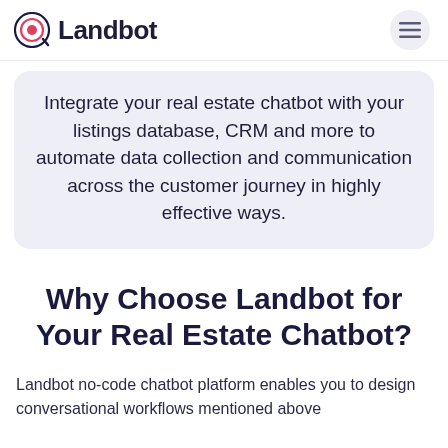Landbot
Integrate your real estate chatbot with your listings database, CRM and more to automate data collection and communication across the customer journey in highly effective ways.
Why Choose Landbot for Your Real Estate Chatbot?
Landbot no-code chatbot platform enables you to design conversational workflows mentioned above